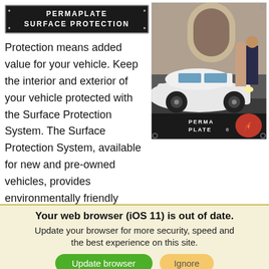PERMAPLATE SURFACE PROTECTION
[Figure (photo): White SUV with two people standing beside it in an outdoor street setting, with PERMA PLATE logo and red flame emblem in the lower right corner of the photo.]
Protection means added value for your vehicle. Keep the interior and exterior of your vehicle protected with the Surface Protection System. The Surface Protection System, available for new and pre-owned vehicles, provides environmentally friendly appearance protection and
Your web browser (iOS 11) is out of date. Update your browser for more security, speed and the best experience on this site.